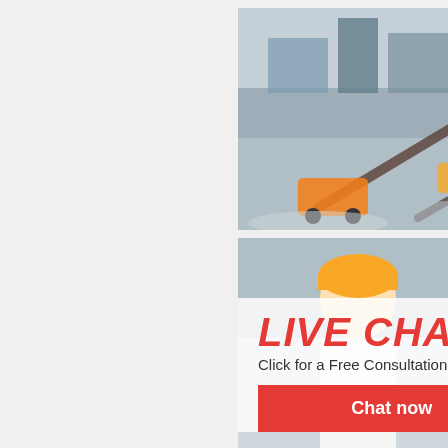Parts
[Figure (photo): Aerial view of a mining/quarry facility with heavy equipment, conveyors, and crushed stone]
[Figure (photo): Workers in yellow hard hats at an industrial site, with LIVE CHAT overlay]
[Figure (infographic): Live Chat overlay with red LIVE CHAT title, 'Click for a Free Consultation', Chat now and Chat later buttons]
[Figure (photo): Orange sidebar with crusher machine images, Enjoy 3% discount, Click to Chat, Enquiry, and mumumugoods@gmail.com]
Suppliers Manufacturers Factory ...
2021-10-21   We're well-known as one of the leading crusher parts manufacturers and suppliers in China for our quality products and competitive price. Please feel free to wholesale bulk crusher parts made in China here and get quotation from our factory.We are advancing courageously